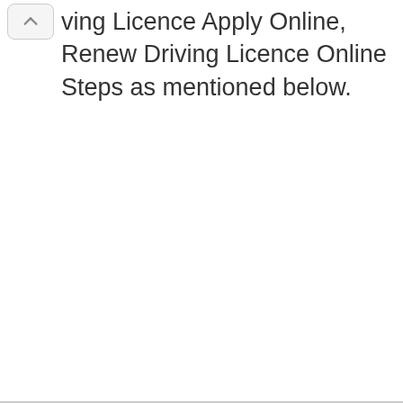ving Licence Apply Online, Renew Driving Licence Online Steps as mentioned below.